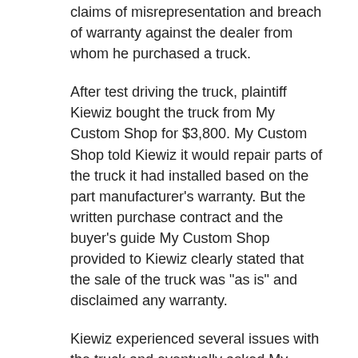claims of misrepresentation and breach of warranty against the dealer from whom he purchased a truck.
After test driving the truck, plaintiff Kiewiz bought the truck from My Custom Shop for $3,800. My Custom Shop told Kiewiz it would repair parts of the truck it had installed based on the part manufacturer’s warranty. But the written purchase contract and the buyer’s guide My Custom Shop provided to Kiewiz clearly stated that the sale of the truck was “as is” and disclaimed any warranty.
Kiewiz experienced several issues with the truck and eventually asked My Custom Shop for a full refund. My Custom Shop refused, and Kiewiz filed the instant claims for misrepresentation, fraudulent practices, breach of implied warranty, and violation of the federal Magnuson-Moss